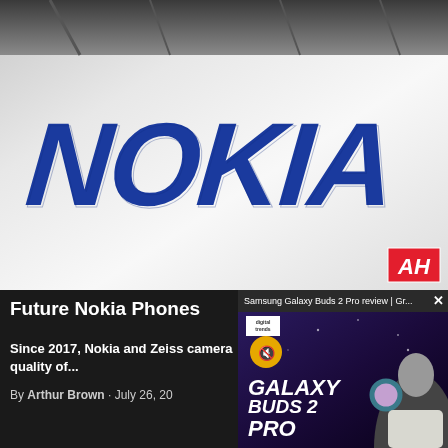[Figure (photo): Nokia logo banner photo — large blue Nokia wordmark on white background, taken at an exhibition or event, with ceiling/rafters visible at top. AH (Android Headlines) red badge in bottom-right corner.]
Future Nokia Phones
Since 2017, Nokia and Zeiss camera quality of...
By Arthur Brown · July 26, 20
[Figure (screenshot): Video overlay popup: 'Samsung Galaxy Buds 2 Pro review | Gr...' with X close button. Thumbnail shows Digital Trends logo, yellow mute button, Galaxy Buds 2 Pro text, person holding earbuds, on dark purple/blue background.]